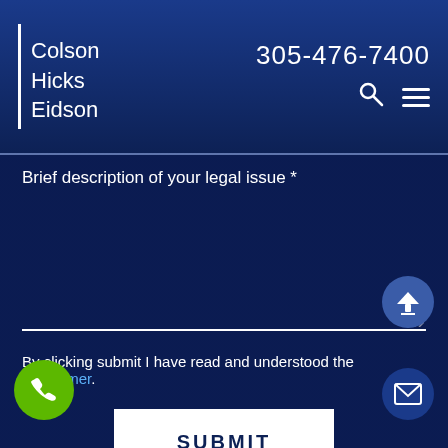Colson Hicks Eidson | 305-476-7400
Brief description of your legal issue *
By clicking submit I have read and understood the Disclaimer.
SUBMIT